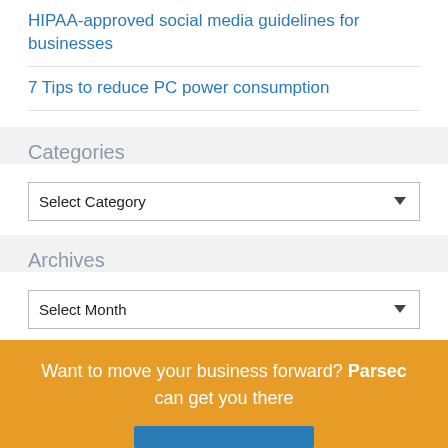HIPAA-approved social media guidelines for businesses
7 Tips to reduce PC power consumption
Categories
Select Category
Archives
Select Month
Want to move your business forward? Parsec can get you there